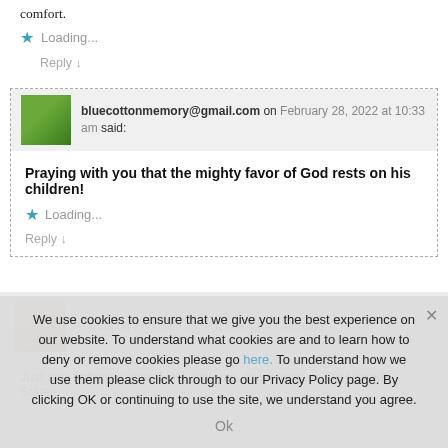comfort.
Loading...
Reply ↓
bluecottonmemory@gmail.com on February 28, 2022 at 10:33 am said:
Praying with you that the mighty favor of God rests on his children!
Loading...
Reply ↓
– linda on February 28, 2022 at 11:47 am said:
Just one righteous one, Lord, just one. In Ukraine, in the United States,
We use cookies to ensure that we give you the best experience on our website. To understand what cookies are and to learn how to deny or remove cookies please go here. To understand how we use them please click through to our Privacy Policy page. By clicking OK or continuing to use the site, we understand you agree.
Ok